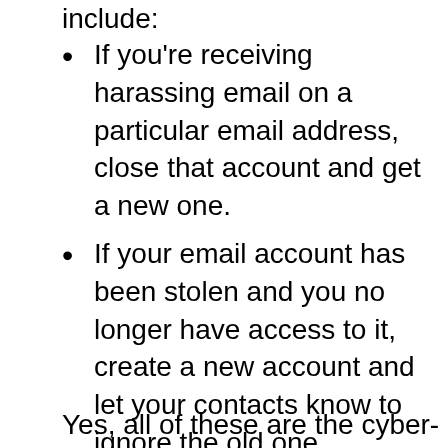include:
If you're receiving harassing email on a particular email address, close that account and get a new one.
If your email account has been stolen and you no longer have access to it, create a new account and let your contacts know to ignore the old one.
If you're getting harassing chat messages, close the account and begin a new one.
Yes, all of these are the cyber-